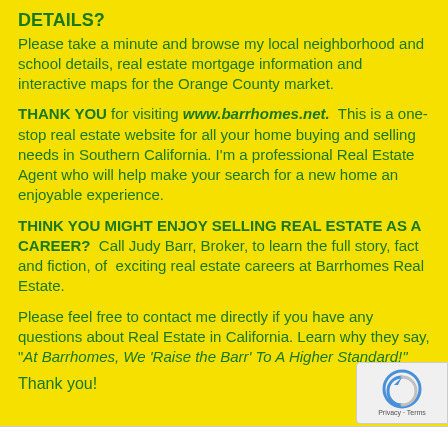DETAILS?
Please take a minute and browse my local neighborhood and school details, real estate mortgage information and interactive maps for the Orange County market.
THANK YOU for visiting www.barrhomes.net. This is a one-stop real estate website for all your home buying and selling needs in Southern California. I'm a professional Real Estate Agent who will help make your search for a new home an enjoyable experience.
THINK YOU MIGHT ENJOY SELLING REAL ESTATE AS A CAREER? Call Judy Barr, Broker, to learn the full story, fact and fiction, of exciting real estate careers at Barrhomes Real Estate.
Please feel free to contact me directly if you have any questions about Real Estate in California. Learn why they say, "At Barrhomes, We 'Raise the Barr' To A Higher Standard!"
Thank you!